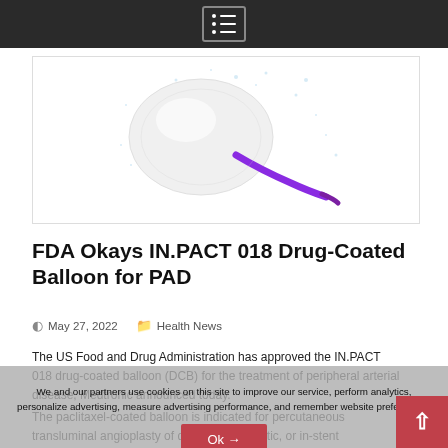[Figure (illustration): Medical illustration of an IN.PACT 018 drug-coated balloon catheter with purple tip, shown against a white background with blue/white splash effect]
FDA Okays IN.PACT 018 Drug-Coated Balloon for PAD
May 27, 2022   Health News
The US Food and Drug Administration has approved the IN.PACT 018 drug-coated balloon (DCB) for the treatment of peripheral arterial disease, Medtronic announced today.
The paclitaxel-coated balloon is indicated for percutaneous transluminal angioplasty of de novo, restenotic, or in-stent
We and our partners use cookies on this site to improve our service, perform analytics, personalize advertising, measure advertising performance, and remember website preferences.